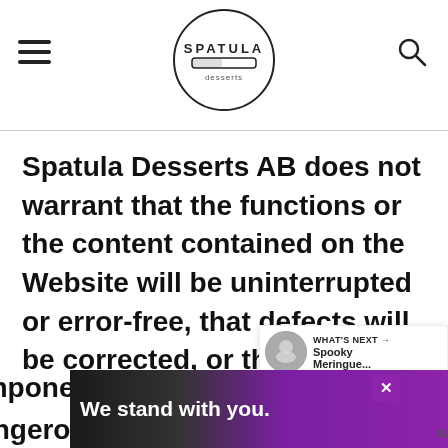Spatula Desserts logo header with hamburger menu and search icon
Spatula Desserts AB does not warrant that the functions or the content contained on the Website will be uninterrupted or error-free, that defects will be corrected, or that Spatula Desserts AB’s s[ervers] are free of viruses or other harmful [components]